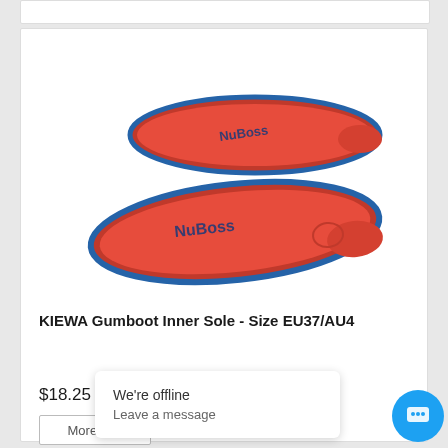[Figure (photo): Two red shoe insoles (NuBoss brand) with blue edges, shown from above at an angle — one slightly above the other.]
KIEWA Gumboot Inner Sole - Size EU37/AU4
$18.25
More Info
We're offline
Leave a message